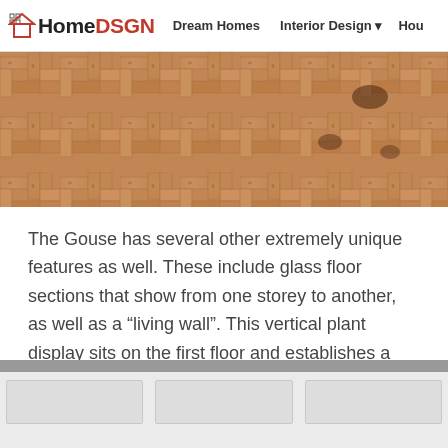HomeDSGN  Dream Homes  Interior Design  Hou
[Figure (photo): Close-up of herringbone pattern wooden parquet flooring, light tan/brown tones with visible wood grain and knots.]
The Gouse has several other extremely unique features as well. These include glass floor sections that show from one storey to another, as well as a “living wall”. This vertical plant display sits on the first floor and establishes a sense of an indoor-outdoor living space and a cohesiveness of the house with the environment around it.